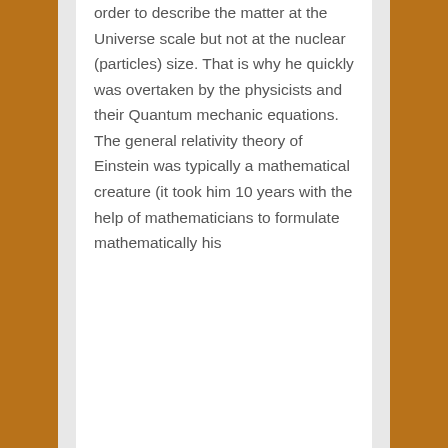order to describe the matter at the Universe scale but not at the nuclear (particles) size. That is why he quickly was overtaken by the physicists and their Quantum mechanic equations. The general relativity theory of Einstein was typically a mathematical creature (it took him 10 years with the help of mathematicians to formulate mathematically his